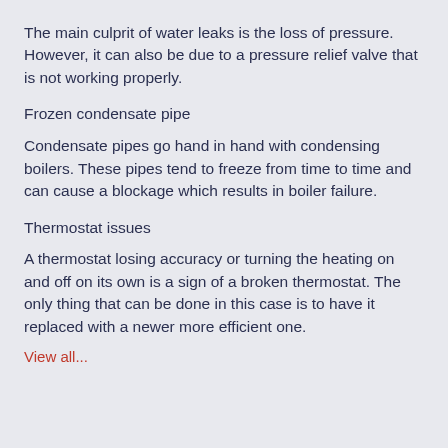The main culprit of water leaks is the loss of pressure. However, it can also be due to a pressure relief valve that is not working properly.
Frozen condensate pipe
Condensate pipes go hand in hand with condensing boilers. These pipes tend to freeze from time to time and can cause a blockage which results in boiler failure.
Thermostat issues
A thermostat losing accuracy or turning the heating on and off on its own is a sign of a broken thermostat. The only thing that can be done in this case is to have it replaced with a newer more efficient one.
View all...